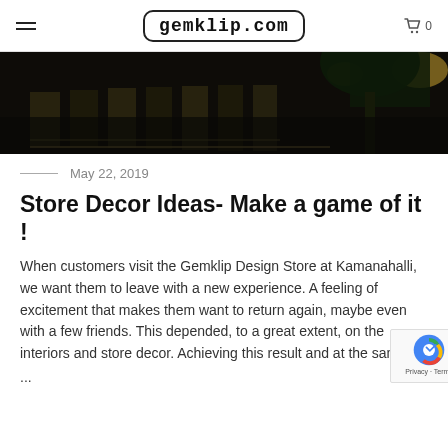gemklip.com
[Figure (photo): Night-time exterior photo of a store or building with dark atmosphere, striped floor, and a palm tree visible]
May 22, 2019
Store Decor Ideas- Make a game of it !
When customers visit the Gemklip Design Store at Kamanahalli, we want them to leave with a new experience. A feeling of excitement that makes them want to return again, maybe even with a few friends. This depended, to a great extent, on the interiors and store decor. Achieving this result and at the sam…
...